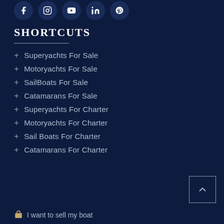[Figure (other): Row of social media icon circles: Facebook, Instagram, YouTube, LinkedIn, Pinterest]
SHORTCUTS
+ Superyachts For Sale
+ Motoryachts For Sale
+ SailBoats For Sale
+ Catamarans For Sale
+ Superyachts For Charter
+ Motoryachts For Charter
+ Sail Boats For Charter
+ Catamarans For Charter